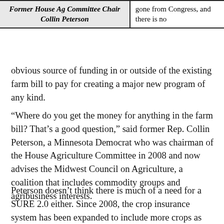| Former House Ag Committee Chair Collin Peterson |  |
| --- | --- |
|  | gone from Congress, and there is no |
obvious source of funding in or outside of the existing farm bill to pay for creating a major new program of any kind.
“Where do you get the money for anything in the farm bill? That’s a good question,” said former Rep. Collin Peterson, a Minnesota Democrat who was chairman of the House Agriculture Committee in 2008 and now advises the Midwest Council on Agriculture, a coalition that includes commodity groups and agribusiness interests.
Peterson doesn’t think there is much of a need for a SURE 2.0 either. Since 2008, the crop insurance system has been expanded to include more crops as well as livestock, dairy and other commodities, and some smaller livestock disaster programs that were authorized along with SURE